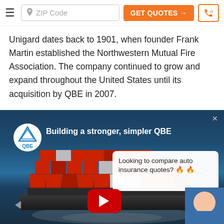[Figure (screenshot): Navigation bar with hamburger menu, ZIP Code input field, orange GET QUOTES button with arrow, and orange phone icon button]
Unigard dates back to 1901, when founder Frank Martin established the Northwestern Mutual Fire Association. The company continued to grow and expand throughout the United States until its acquisition by QBE in 2007.
[Figure (screenshot): YouTube video thumbnail showing QBE branded video titled 'Building a stronger, simpler QBE' with aerial view of container ship, QBE logo in circle top-left, close X button top-right, a popup overlay saying 'Looking to compare auto insurance quotes? 🔥 🔥', YouTube red play button in center, and agent photo bottom-right]